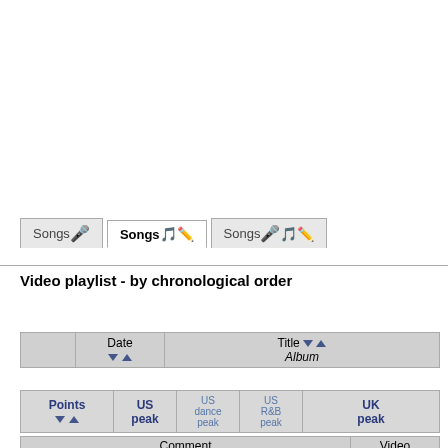[Figure (screenshot): Three tab buttons: 'Songs' with microphone icon (inactive), 'Songs' with music note and pen icon (active/selected), 'Songs' with microphone and music+pen icons (inactive)]
Video playlist - by chronological order
|  | Date ▼▲ | Title ▼▲ / Album |
| --- | --- | --- |
| Points ▼▲ | US peak | US dance peak | US R&B peak | UK peak |
| --- | --- | --- | --- | --- |
| Comment | Video |
| --- | --- |